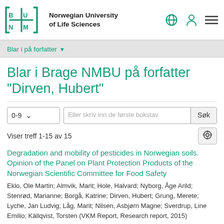Norwegian University of Life Sciences
Blar i på forfatter ▾
Blar i Brage NMBU på forfatter "Dirven, Hubert"
0-9   Eller skriv inn de første bokstav   Søk
Viser treff 1-15 av 15
Degradation and mobility of pesticides in Norwegian soils. Opinion of the Panel on Plant Protection Products of the Norwegian Scientific Committee for Food Safety
Eklo, Ole Martin; Almvik, Marit; Hole, Halvard; Nyborg, Åge Arild; Stenrød, Marianne; Borgå, Katrine; Dirven, Hubert; Grung, Merete; Lyche, Jan Ludvig; Låg, Marit; Nilsen, Asbjørn Magne; Sverdrup, Line Emilio; Källqvist, Torsten (VKM Report, Research report, 2015)